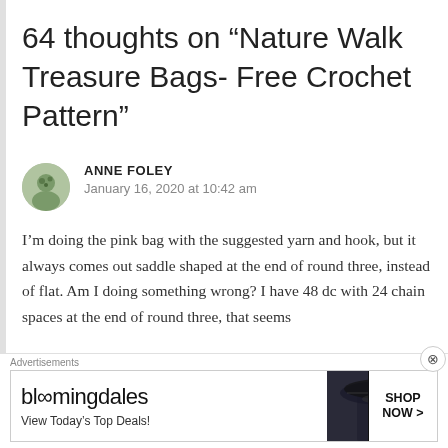64 thoughts on “Nature Walk Treasure Bags- Free Crochet Pattern”
ANNE FOLEY
January 16, 2020 at 10:42 am
I’m doing the pink bag with the suggested yarn and hook, but it always comes out saddle shaped at the end of round three, instead of flat. Am I doing something wrong? I have 48 dc with 24 chain spaces at the end of round three, that seems
[Figure (other): Bloomingdales advertisement banner with logo, 'View Today’s Top Deals!', woman in wide-brim hat, and 'SHOP NOW >' button]